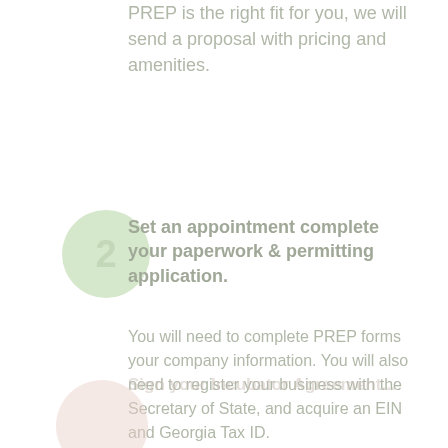PREP is the right fit for you, we will send a proposal with pricing and amenities.
Set an appointment complete your paperwork & permitting application.
You will need to complete PREP forms your company information. You will also need to register your business with the Secretary of State, and acquire an EIN and Georgia Tax ID.